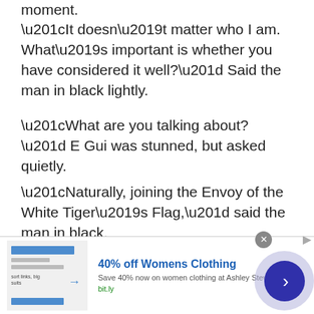moment.
“It doesn’t matter who I am. What’s important is whether you have considered it well?” Said the man in black lightly.
“What are you talking about?” E Gui was stunned, but asked quietly.
“Naturally, joining the Envoy of the White Tiger’s Flag,” said the man in black.
“Envoy of the White Tiger’s Flag?”
[Figure (screenshot): Infolinks advertisement banner showing '40% off Womens Clothing' ad from Ashley Stewart with bit.ly link, close button, and navigation arrow button]